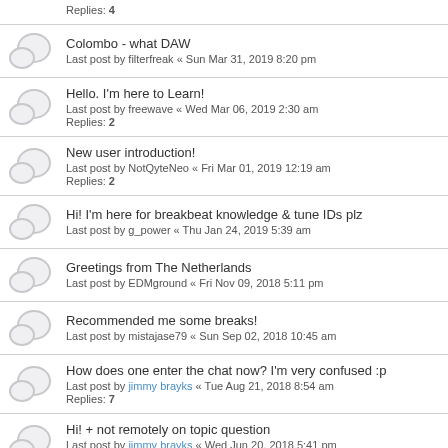Replies: 4
Colombo - what DAW
Last post by filterfreak « Sun Mar 31, 2019 8:20 pm
Hello. I'm here to Learn!
Last post by freewave « Wed Mar 06, 2019 2:30 am
Replies: 2
New user introduction!
Last post by NotQyteNeo « Fri Mar 01, 2019 12:19 am
Replies: 2
Hi! I'm here for breakbeat knowledge & tune IDs plz
Last post by g_power « Thu Jan 24, 2019 5:39 am
Greetings from The Netherlands
Last post by EDMground « Fri Nov 09, 2018 5:11 pm
Recommended me some breaks!
Last post by mistajase79 « Sun Sep 02, 2018 10:45 am
How does one enter the chat now? I'm very confused :p
Last post by jimmy brayks « Tue Aug 21, 2018 8:54 am
Replies: 7
Hi! + not remotely on topic question
Last post by jimmy brayks « Wed Jun 20, 2018 5:41 pm
Replies: 1